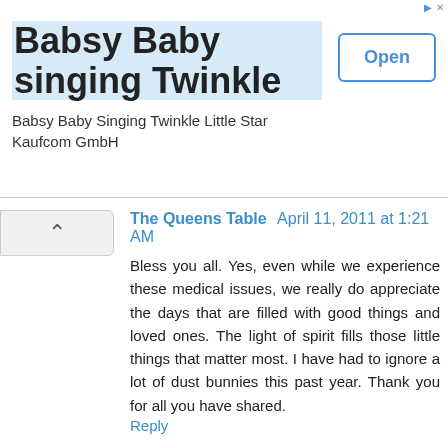[Figure (other): Advertisement banner for 'Babsy Baby singing Twinkle' app by Kaufcom GmbH with an Open button]
The Queens Table  April 11, 2011 at 1:21 AM
Bless you all. Yes, even while we experience these medical issues, we really do appreciate the days that are filled with good things and loved ones. The light of spirit fills those little things that matter most. I have had to ignore a lot of dust bunnies this past year. Thank you for all you have shared.
Reply
Kathleen  April 11, 2011 at 5:47 AM
Beautiful thoughts. I think many of us go through things like this, but are hesitant to talk to others about it. I am grateful for the paradoxical nature of the internet: it's an anonymous, yet tightly-knit community. Thank you for